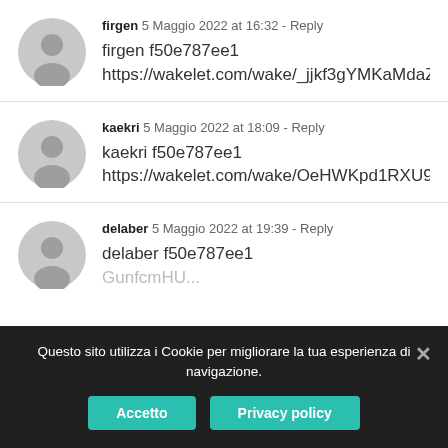firgen  5 Maggio 2022 at 16:32 - Reply
firgen f50e787ee1
https://wakelet.com/wake/_jjkf3gYMKaMdaZI9C...
kaekri  5 Maggio 2022 at 18:09 - Reply
kaekri f50e787ee1
https://wakelet.com/wake/OeHWKpd1RXU9kJA...
delaber  5 Maggio 2022 at 19:39 - Reply
delaber f50e787ee1
GunfcmHU...
Questo sito utilizza i Cookie per migliorare la tua esperienza di navigazione.
Accetto  Privacy policy